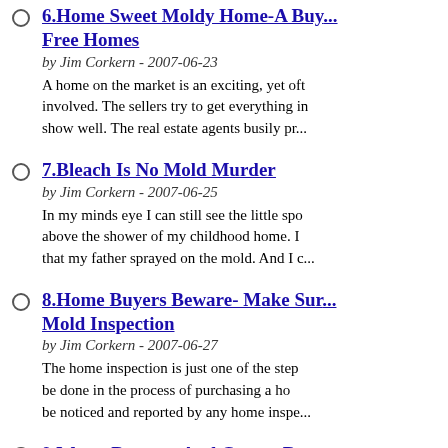6. Home Sweet Moldy Home-A Buy... Free Homes
by Jim Corkern - 2007-06-23
A home on the market is an exciting, yet off... involved. The sellers try to get everything in... show well. The real estate agents busily pr...
7. Bleach Is No Mold Murder
by Jim Corkern - 2007-06-25
In my minds eye I can still see the little spo... above the shower of my childhood home. I... that my father sprayed on the mold. And I c...
8. Home Buyers Beware- Make Sur... Mold Inspection
by Jim Corkern - 2007-06-27
The home inspection is just one of the step... be done in the process of purchasing a hom... be noticed and reported by any home inspe...
9. Water Damage And Carpet Remo...
by Jim Corkern - 2007-06-27
You wake up rested after a terrific nights sle... swing your legs over the side of your bed. Y... Your toes dig deep into the luxurious carpet...
10. Easy Ways To Stop The Mold I...